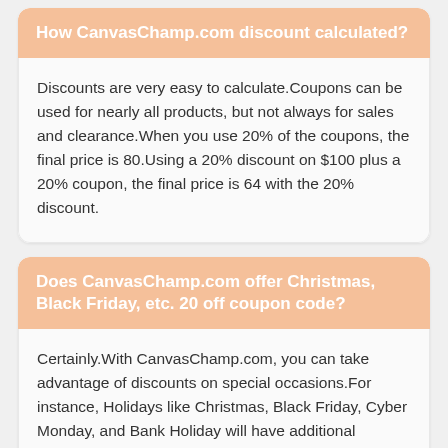How CanvasChamp.com discount calculated?
Discounts are very easy to calculate.Coupons can be used for nearly all products, but not always for sales and clearance.When you use 20% of the coupons, the final price is 80.Using a 20% discount on $100 plus a 20% coupon, the final price is 64 with the 20% discount.
Does CanvasChamp.com offer Christmas, Black Friday, etc. 20 off coupon code?
Certainly.With CanvasChamp.com, you can take advantage of discounts on special occasions.For instance, Holidays like Christmas, Black Friday, Cyber Monday, and Bank Holiday will have additional discounts.